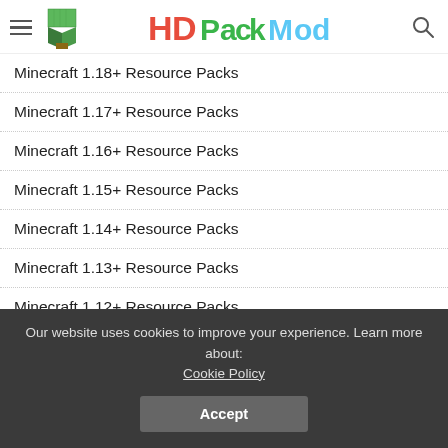[Figure (logo): HD Pack Mod website header with hamburger menu, green Minecraft block icon, colorful HD Pack Mod logo text, and search icon]
Minecraft 1.18+ Resource Packs
Minecraft 1.17+ Resource Packs
Minecraft 1.16+ Resource Packs
Minecraft 1.15+ Resource Packs
Minecraft 1.14+ Resource Packs
Minecraft 1.13+ Resource Packs
Minecraft 1.12+ Resource Packs
Minecraft 1.11+ Resource Packs
Minecraft 1.10+ Resource Packs
Our website uses cookies to improve your experience. Learn more about: Cookie Policy
Accept